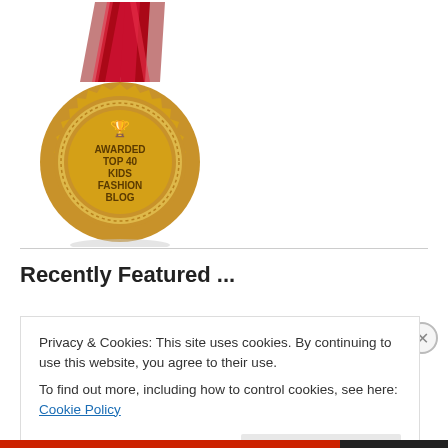[Figure (illustration): Gold medal with red ribbon awarded 'Top 40 Kids Fashion Blog', with a trophy icon at the top center of the medal face]
Recently Featured ...
Privacy & Cookies: This site uses cookies. By continuing to use this website, you agree to their use.
To find out more, including how to control cookies, see here: Cookie Policy
Close and accept